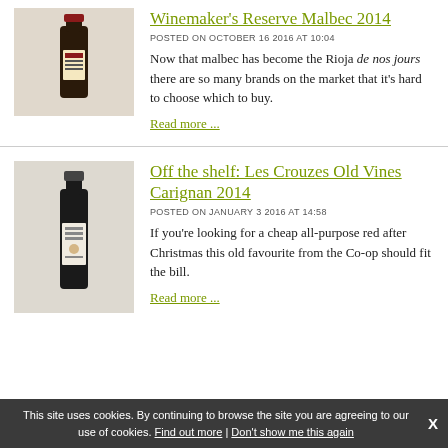Winemaker's Reserve Malbec 2014
POSTED ON OCTOBER 16 2016 AT 10:04
Now that malbec has become the Rioja de nos jours there are so many brands on the market that it's hard to choose which to buy.
Read more ...
[Figure (photo): Photo of a wine bottle with dark label, Winemaker's Reserve Malbec]
Off the shelf: Les Crouzes Old Vines Carignan 2014
POSTED ON JANUARY 3 2016 AT 14:58
If you're looking for a cheap all-purpose red after Christmas this old favourite from the Co-op should fit the bill.
Read more ...
[Figure (photo): Photo of a wine bottle with white label, Les Crouzes Old Vines Carignan]
This site uses cookies. By continuing to browse the site you are agreeing to our use of cookies. Find out more | Don't show me this again